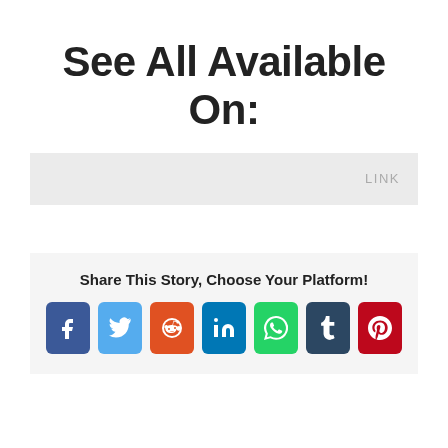See All Available On:
LINK
Share This Story, Choose Your Platform!
[Figure (infographic): Row of 7 social media share buttons: Facebook, Twitter, Reddit, LinkedIn, WhatsApp, Tumblr, Pinterest]